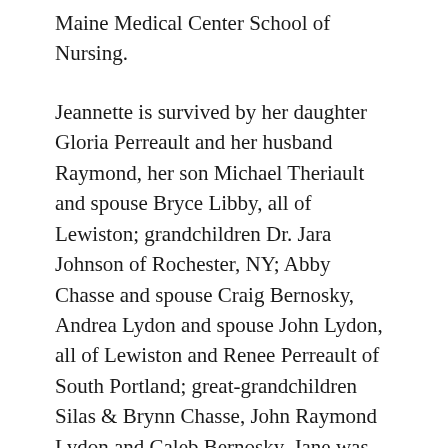Maine Medical Center School of Nursing.
Jeannette is survived by her daughter Gloria Perreault and her husband Raymond, her son Michael Theriault and spouse Bryce Libby, all of Lewiston; grandchildren Dr. Jara Johnson of Rochester, NY; Abby Chasse and spouse Craig Bernosky, Andrea Lydon and spouse John Lydon, all of Lewiston and Renee Perreault of South Portland; great-grandchildren Silas & Brynn Chasse, John Raymond Lydon and Caleb Bernosky. Jane was predeceased by her husband Alban Theriault; daughter Christine Johnson, grand-daughter Kari Johnson, her sister and brother in-law Jacqueline and Robert Cloutier and several nieces and nephews.
Jane's family wishes to extend their appreciation to Marshwood Nursing Home staff, Beacon Hospice and